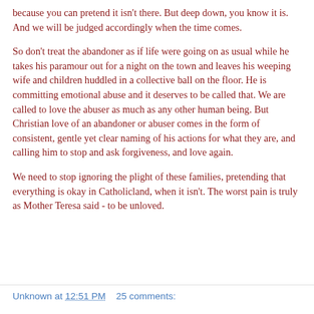because you can pretend it isn't there. But deep down, you know it is. And we will be judged accordingly when the time comes.
So don't treat the abandoner as if life were going on as usual while he takes his paramour out for a night on the town and leaves his weeping wife and children huddled in a collective ball on the floor. He is committing emotional abuse and it deserves to be called that. We are called to love the abuser as much as any other human being. But Christian love of an abandoner or abuser comes in the form of consistent, gentle yet clear naming of his actions for what they are, and calling him to stop and ask forgiveness, and love again.
We need to stop ignoring the plight of these families, pretending that everything is okay in Catholicland, when it isn't. The worst pain is truly as Mother Teresa said - to be unloved.
Unknown at 12:51 PM    25 comments: